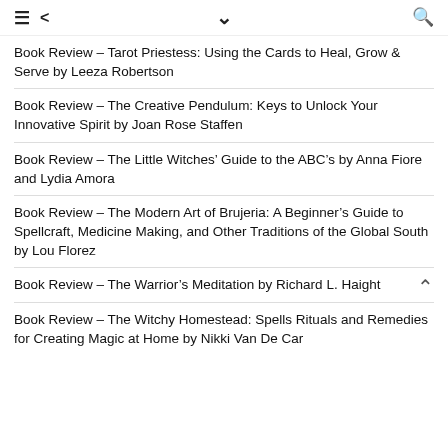≡ < ∨ 🔍
Book Review – Tarot Priestess: Using the Cards to Heal, Grow & Serve by Leeza Robertson
Book Review – The Creative Pendulum: Keys to Unlock Your Innovative Spirit by Joan Rose Staffen
Book Review – The Little Witches' Guide to the ABC's by Anna Fiore and Lydia Amora
Book Review – The Modern Art of Brujeria: A Beginner's Guide to Spellcraft, Medicine Making, and Other Traditions of the Global South by Lou Florez
Book Review – The Warrior's Meditation by Richard L. Haight
Book Review – The Witchy Homestead: Spells Rituals and Remedies for Creating Magic at Home by Nikki Van De Car